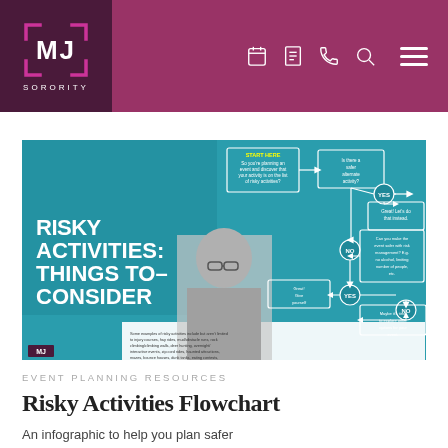MJ SORORITY
[Figure (infographic): Risky Activities: Things to Consider — a flowchart infographic on teal background with decision boxes and arrows. Shows a flowchart starting with 'START HERE: So you're planning an event and discover that your activity is on the list of risky activities?' leading to 'Is there a safer alternate activity?' with YES path to 'Great! Let's do that instead.' and NO path to 'Can you make the event safer with risk management? E.g. no alcohol, limiting number of people, etc.' then YES path to 'Great! Give yourself some time. You got this.' and NO path to 'Maybe it's time to explore other options for your event.' Bottom text lists examples of risky activities. Left side shows bold white text 'RISKY ACTIVITIES: THINGS TO CONSIDER' with a black and white photo of a young woman with glasses.]
EVENT PLANNING RESOURCES
Risky Activities Flowchart
An infographic to help you plan safer